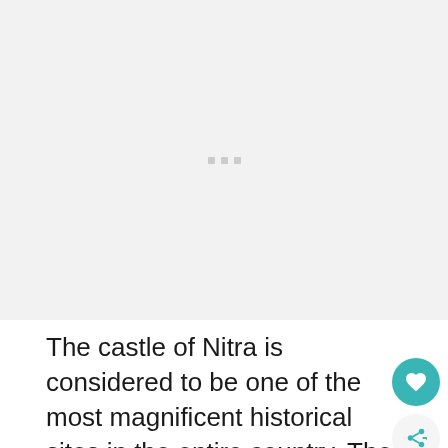[Figure (photo): Image placeholder with light gray background and three small gray square dots centered in the upper portion of the page]
The castle of Nitra is considered to be one of the most magnificent historical sites in the entire country. The castle offers several tours around the complex, focusing on the castle's history, and